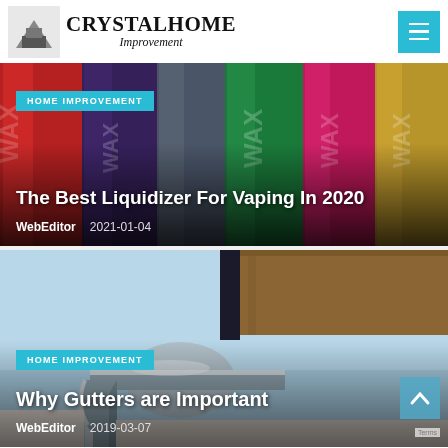CRYSTALHOME Improvement
[Figure (photo): Colorful WAX brand vaping liquidizer product bottles lined up]
HOME IMPROVEMENT
The Best Liquidizer For Vaping In 2020
WebEditor  2021-01-04
[Figure (photo): Close-up of a metal rain gutter system on a house roofline against blue sky]
HOME IMPROVEMENT
Why Gutters are Important
WebEditor  2019-03-07